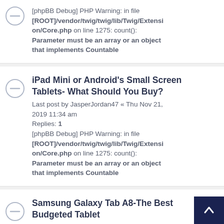[phpBB Debug] PHP Warning: in file [ROOT]/vendor/twig/twig/lib/Twig/Extension/Core.php on line 1275: count(): Parameter must be an array or an object that implements Countable
iPad Mini or Android's Small Screen Tablets- What Should You Buy?
Last post by JasperJordan47 « Thu Nov 21, 2019 11:34 am
Replies: 1
[phpBB Debug] PHP Warning: in file [ROOT]/vendor/twig/twig/lib/Twig/Extension/Core.php on line 1275: count(): Parameter must be an array or an object that implements Countable
Samsung Galaxy Tab A8-The Best Budgeted Tablet
Last post by wholesalelaptops « Tue Aug 20, 2019 11:23 am
[phpBB Debug] PHP Warning: in file [ROOT]/vendor/twig/twig/lib/Twig/Extension/Core.php on line 1275: count(): Parameter must be an array or an object